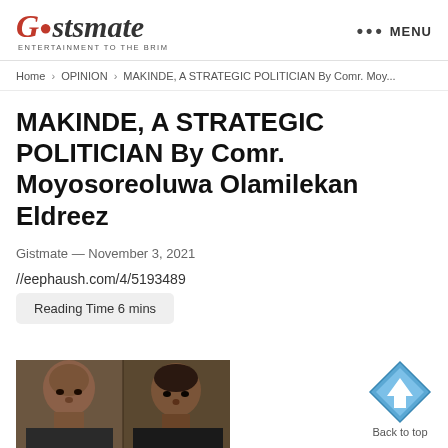[Figure (logo): Gistsmate logo with decorative script text and tagline 'Entertainment to the Brim']
••• MENU
Home > OPINION > MAKINDE, A STRATEGIC POLITICIAN By Comr. Moy...
MAKINDE, A STRATEGIC POLITICIAN By Comr. Moyosoreoluwa Olamilekan Eldreez
Gistmate — November 3, 2021
//eephaush.com/4/5193489
Reading Time 6 mins
[Figure (photo): Two men photographed side by side, article subject photo]
[Figure (other): Back to top diamond-shaped blue arrow button with label 'Back to top']